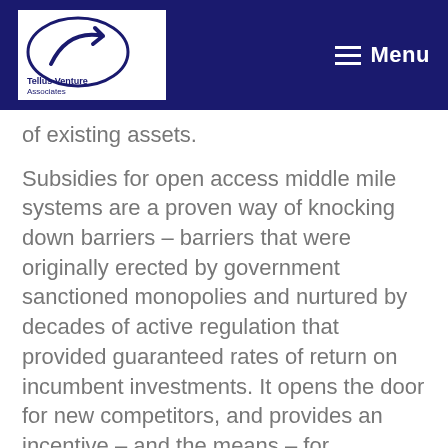Tellus Venture Associates — Menu
of existing assets.
Subsidies for open access middle mile systems are a proven way of knocking down barriers – barriers that were originally erected by government sanctioned monopolies and nurtured by decades of active regulation that provided guaranteed rates of return on incumbent investments. It opens the door for new competitors, and provides an incentive – and the means – for incumbents to invest in system upgrades.